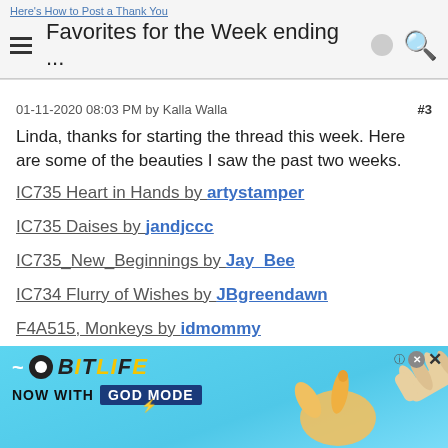Here's How to Post a Thank You | Favorites for the Week ending ...
01-11-2020 08:03 PM by Kalla Walla  #3
Linda, thanks for starting the thread this week. Here are some of the beauties I saw the past two weeks.
IC735 Heart in Hands by artystamper
IC735 Daises by jandjccc
IC735_New_Beginnings by Jay_Bee
IC734 Flurry of Wishes by JBgreendawn
F4A515, Monkeys by idmommy
[Figure (screenshot): Advertisement banner for BitLife game featuring 'NOW WITH GOD MODE' text on a blue background with illustrated hands]